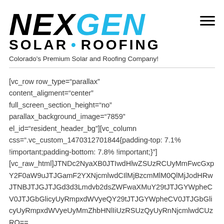[Figure (logo): NexGen Solar Roofing logo — 'NEX' in black bold italic, 'GEN' in cyan bold italic, below that 'SOLAR • ROOFING' in black bold uppercase with a cyan bullet, and a hamburger menu icon top-right]
Colorado's Premium Solar and Roofing Company!
[vc_row row_type="parallax" content_aligment="center" full_screen_section_height="no" parallax_background_image="7859" el_id="resident_header_bg"][vc_column css=".vc_custom_1470312701844{padding-top: 7.1% !important;padding-bottom: 7.8% !important;}"] [vc_raw_html]JTNDc2NyaXB0JTIwdHlwZSUzRCUyMmFwcGxpY2F0aW9uJTJGamF2YXNjcmlwdCIlMjBzcmMlM0QlMjJodHRwJTNBJTJGJTJGd3d3Lmdvb2dsZWFwaXMuY29tJTJGYWpheCV0JTJGbGlicyUyRmpxdWVyeSUyRjEuMTEuMSUyRmpxdWVyeS5taW4uanMlMjIlM0UlM0MlMkZzY3JpcHQlM0UlMEElMEElMEElMEElMEElMEElMEElMEElMEElMEElMEElMEElMEFoZWxwZXIzSnRKTkZKVEJCSlRkQ0pUQkJKVEl3SlRJd0pUaXlKVFF3WTI5dWRHVjRkQ1V5TWlVelFTVXlNQ1V5TW1oMGRIQWxNMEVsTWtZbE1rWnlZMmhsYldFdWIzSm5KVEo